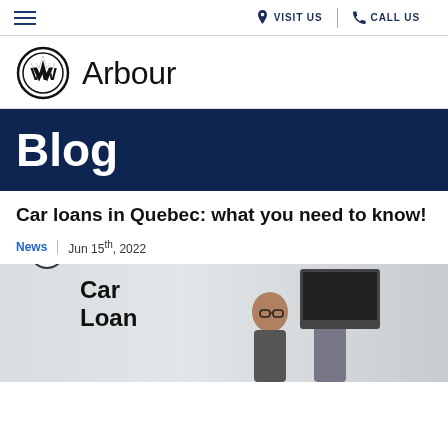≡  VISIT US  |  CALL US
[Figure (logo): Volkswagen VW circular logo with 'Arbour' text beside it]
Blog
Car loans in Quebec: what you need to know!
News  |  Jun 15th, 2022
[Figure (photo): Car Loan promotional image with VW Arbour blue badge and people in background, English language badge overlay]